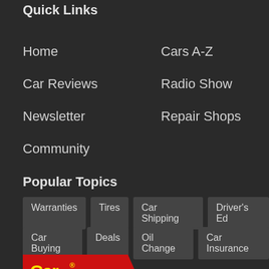Quick Links
Home
Cars A-Z
Car Reviews
Radio Show
Newsletter
Repair Shops
Community
Popular Topics
Warranties
Tires
Car Shipping
Driver's Ed
Car Buying
Deals
Oil Change
Car Insurance
[Figure (logo): Car Talk logo — red banner shape with yellow 'Car' text and white 'Talk' text]